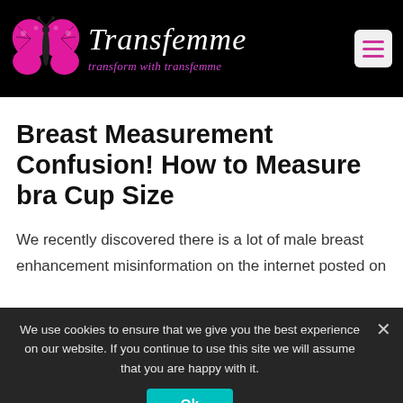Transfemme — transform with transfemme
Breast Measurement Confusion! How to Measure bra Cup Size
We recently discovered there is a lot of male breast enhancement misinformation on the internet posted on
We use cookies to ensure that we give you the best experience on our website. If you continue to use this site we will assume that you are happy with it.